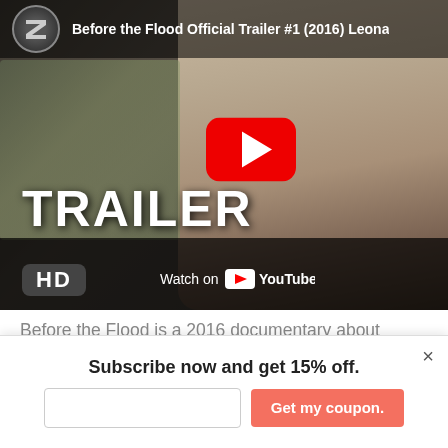[Figure (screenshot): YouTube video thumbnail for 'Before the Flood Official Trailer #1 (2016) Leonardo...' showing a man (Leonardo DiCaprio) with a YouTube play button overlay, TRAILER text in white, HD badge, and Watch on YouTube bar at the bottom.]
Before the Flood is a 2016 documentary about climate change directed by Fisher Stevens. The film...
Subscribe now and get 15% off.
Get my coupon.